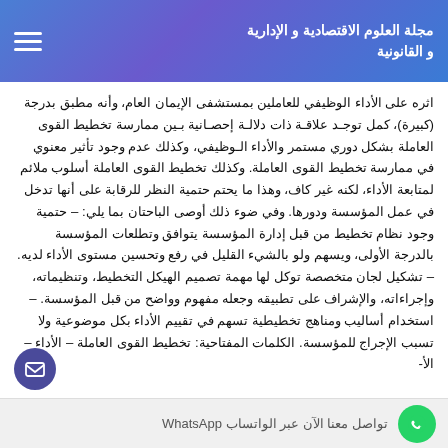مجلة العلوم الاقتصادية و الإدارية و القانونية
اثره على الأداء الوظيفي للعاملين بمستشفى الإيمان العام، وأنه مطبق بدرجة (كبيرة)، كمل توجـد علاقـة ذات دلالـة إحصـانية بـين ممارسة تخطيط القوى العاملة بشكل دوري مستمر والأداء الـوظيفي، وكذلك عدم وجود تأثير معنوي في ممارسة تخطيط القوى العاملة. وكذلك تخطيط القوى العاملة أسلوب ملائم لمتابعة الأداء، لكنه غير كاف، وهذا ما يحتم حتمية النظر للرقابة على أنها تدخل في عمل المؤسسة ودورها. وفي ضوء ذلك أوصى الباحتان بما يلي: – حتمية وجود نظام تخطيط من قبل إدارة المؤسسة يتوافق وتطلعات المؤسسة بالدرجة الأولى، ويسهم ولو بالشيء القليل في رفع وتحسين مستوى الأداء لديه. – تشكيل لجان متخصصة توكل لها مهمة تصميم الهيكل التخطيط، وتنظيماته، وإجراءاته، والإشراف على تطبيقه وجعله مفهوم وواضح من قبل المؤسسة. – استخدام أساليب ومناهج تخطيطية تسهم في تقييم الأداء بكل موضوعية ولا تسبب الإجراج للمؤسسة. الكلمات المفتاحية: تخطيط القوى العاملة – الأداء –الأ-
تواصل معنا الآن عبر الواتساب WhatsApp